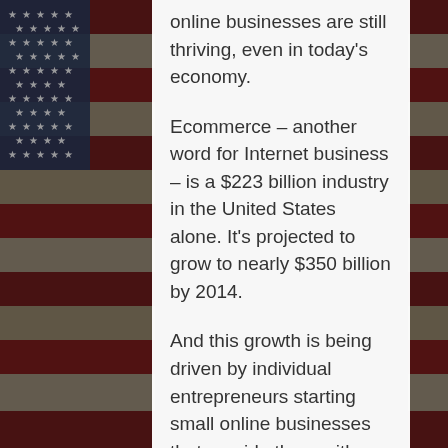[Figure (illustration): American flag background image in dark muted tones with stars and stripes, visible on left and right sides behind a white text panel]
online businesses are still thriving, even in today's economy.
Ecommerce – another word for Internet business – is a $223 billion industry in the United States alone. It's projected to grow to nearly $350 billion by 2014.
And this growth is being driven by individual entrepreneurs starting small online businesses that provide them with a great living. These are everyday people without much knowledge or previous experience in marketing, business, technology, or